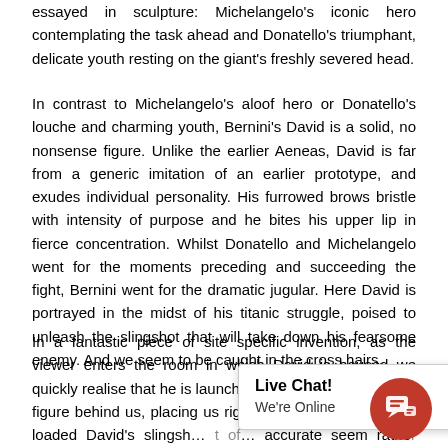essayed in sculpture: Michelangelo's iconic hero contemplating the task ahead and Donatello's triumphant, delicate youth resting on the giant's freshly severed head.
In contrast to Michelangelo's aloof hero or Donatello's louche and charming youth, Bernini's David is a solid, no nonsense figure. Unlike the earlier Aeneas, David is far from a generic imitation of an earlier prototype, and exudes individual personality. His furrowed brows bristle with intensity of purpose and he bites his upper lip in fierce concentration. Whilst Donatello and Michelangelo went for the moments preceding and succeeding the fight, Bernini went for the dramatic jugular. Here David is portrayed in the midst of his titanic struggle, poised to unleash the slingshot that will take down his fearsome enemy. And we seem to be caught in the cross hairs.
In a fantastic piece of site specific invention, as the viewer enters the room in which David is housed we quickly realise that he is launching an attack at an unseen figure behind us, placing us right in the midst of... Bernini loaded David's slingshot... t of... accurate seem rather pedantic in light of the sculpture's
[Figure (screenshot): Live Chat popup overlay showing 'Live Chat!' in bold and 'We're Online' subtitle, with a red circular chat icon button in the bottom right corner.]